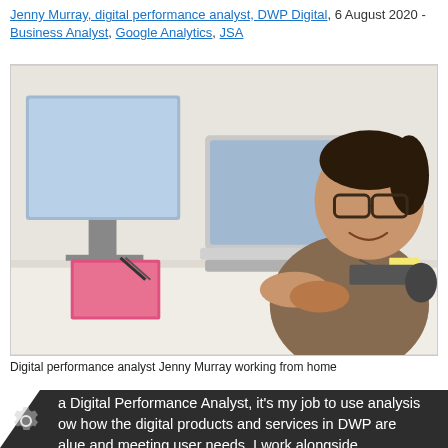Jenny Murray, digital performance analyst, DWP Digital, 6 August 2020 - Business Analyst, Google Analytics, JSA
[Figure (photo): Digital performance analyst Jenny Murray sitting at a desk with two monitors and a laptop, smiling at the camera, working from home]
Digital performance analyst Jenny Murray working from home
a Digital Performance Analyst, it’s my job to use analysis ow how the digital products and services in DWP are alue and meeting user needs. I work alongside